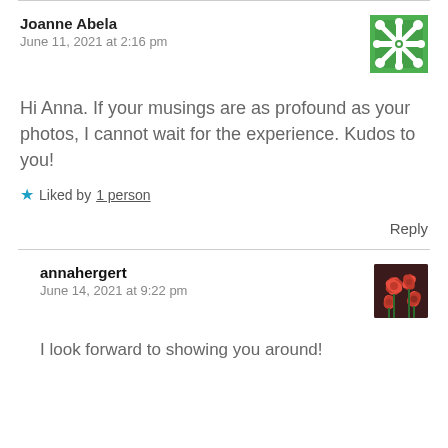Joanne Abela
June 11, 2021 at 2:16 pm
[Figure (illustration): Green decorative snowflake/geometric pattern avatar for Joanne Abela]
Hi Anna. If your musings are as profound as your photos, I cannot wait for the experience. Kudos to you!
Liked by 1 person
Reply
annahergert
June 14, 2021 at 9:22 pm
[Figure (photo): Photo of red flowers/plants, avatar for annahergert]
I look forward to showing you around!